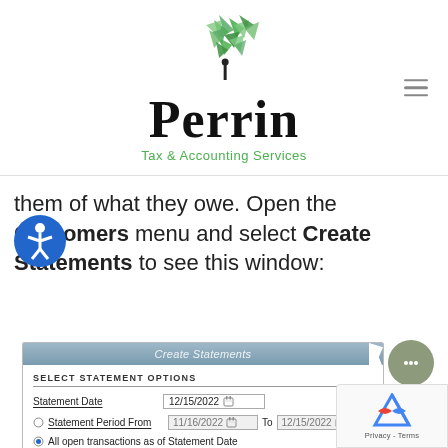[Figure (logo): Perrin Tax & Accounting Services logo with green geometric tree/leaf design above the text 'Perrin' in bold serif font and 'Tax & Accounting Services' in green below]
them of what they owe. Open the Customers menu and select Create Statements to see this window:
[Figure (screenshot): QuickBooks Create Statements dialog window showing SELECT STATEMENT OPTIONS section with Statement Date field showing 12/15/2022, Statement Period From 11/16/2022 To 12/15/2022, and All open transactions as of Statement Date option]